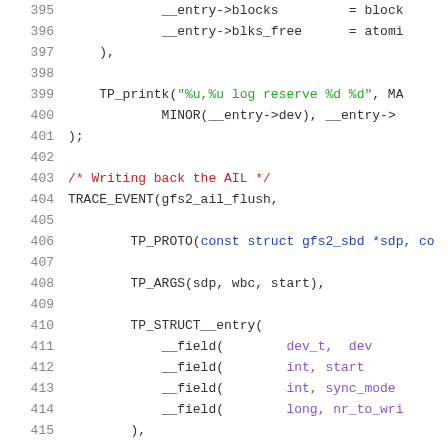Source code listing lines 395-415
395: __entry->blocks = blocks;
396: __entry->blks_free = atomic
397: ),
398: (empty)
399: TP_printk("%u,%u log reserve %d %d", MA
400: MINOR(__entry->dev), __entry->
401: );
402: (empty)
403: /* Writing back the AIL */
404: TRACE_EVENT(gfs2_ail_flush,
405: (empty)
406: TP_PROTO(const struct gfs2_sbd *sdp, co
407: (empty)
408: TP_ARGS(sdp, wbc, start),
409: (empty)
410: TP_STRUCT__entry(
411: __field( dev_t, dev
412: __field( int, start
413: __field( int, sync_mode
414: __field( long, nr_to_wri
415: ),